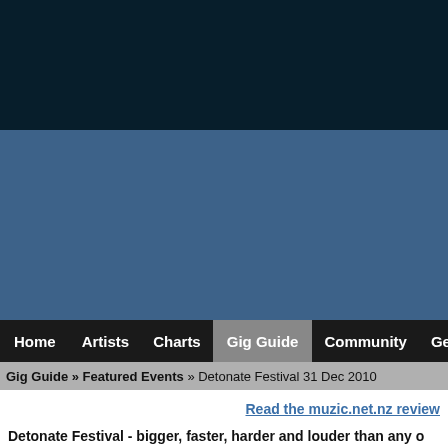[Figure (other): Dark navy blue header background area]
[Figure (other): Steel blue banner/header area]
Home  Artists  Charts  Gig Guide  Community  Get Music  Galle...
Gig Guide » Featured Events » Detonate Festival 31 Dec 2010
Read the muzic.net.nz review
Detonate Festival - bigger, faster, harder and louder than any o...
It's not your usual New Year's party. Thundering, heart stopping explosions, sky high fireballs and entertainment.